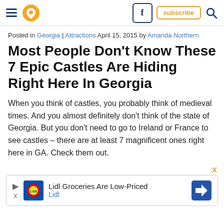Navigation header with hamburger menu, location pin logo, Facebook button, subscribe button, search icon
Posted in Georgia | Attractions April 15, 2015 by Amanda Northern
Most People Don't Know These 7 Epic Castles Are Hiding Right Here In Georgia
When you think of castles, you probably think of medieval times. And you almost definitely don't think of the state of Georgia. But you don't need to go to Ireland or France to see castles – there are at least 7 magnificent ones right here in GA. Check them out.
[Figure (other): Advertisement banner for Lidl Groceries Are Low-Priced, showing Lidl logo and a blue navigation arrow icon]